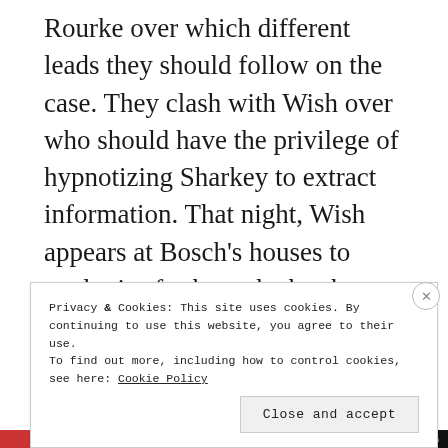Rourke over which different leads they should follow on the case. They clash with Wish over who should have the privilege of hypnotizing Sharkey to extract information. That night, Wish appears at Bosch's houses to apologise for how she has been. They decide to end the friction and collaborate more from that moment on.
The next day with their new working together plan in action, Bosch and Wish visit a halfway
Privacy & Cookies: This site uses cookies. By continuing to use this website, you agree to their use.
To find out more, including how to control cookies, see here: Cookie Policy
Close and accept